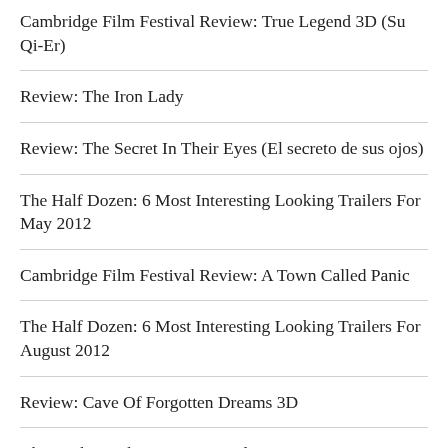Cambridge Film Festival Review: True Legend 3D (Su Qi-Er)
Review: The Iron Lady
Review: The Secret In Their Eyes (El secreto de sus ojos)
The Half Dozen: 6 Most Interesting Looking Trailers For May 2012
Cambridge Film Festival Review: A Town Called Panic
The Half Dozen: 6 Most Interesting Looking Trailers For August 2012
Review: Cave Of Forgotten Dreams 3D
Christopher Robin Has Terminal Cancer!
Recent Posts